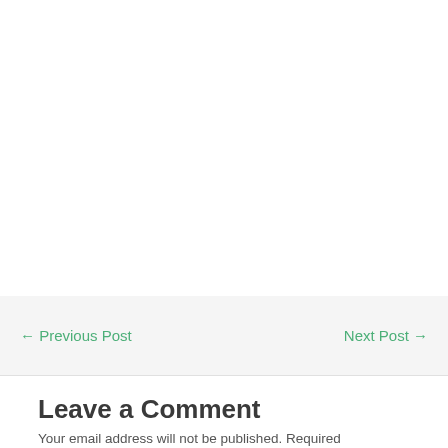← Previous Post
Next Post →
Leave a Comment
Your email address will not be published. Required